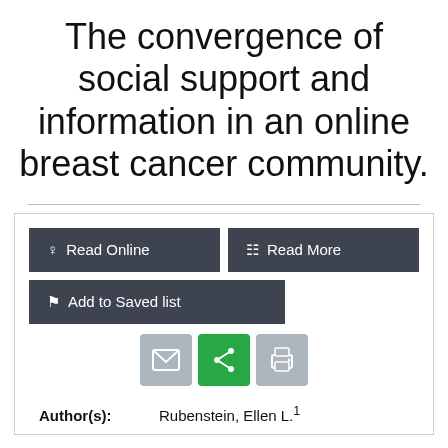The convergence of social support and information in an online breast cancer community.
[Figure (screenshot): UI buttons: Read Online, Read More, Add to Saved list, email icon, share icon (green), print icon, and Author(s) metadata row showing Rubenstein, Ellen L. superscript 1]
Author(s): Rubenstein, Ellen L.¹